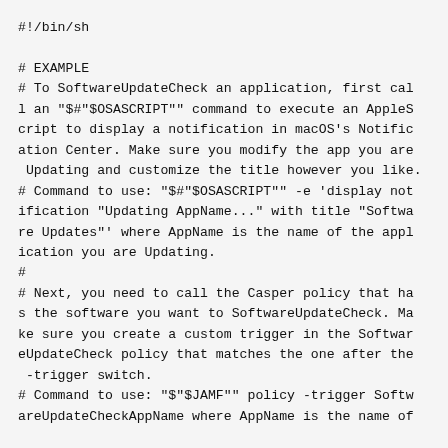#!/bin/sh

# EXAMPLE
# To SoftwareUpdateCheck an application, first call an "$#"$OSASCRIPT"" command to execute an AppleScript to display a notification in macOS's Notification Center. Make sure you modify the app you are Updating and customize the title however you like.
# Command to use: "$#"$OSASCRIPT"" -e 'display notification "Updating AppName..." with title "Software Updates"' where AppName is the name of the application you are Updating.
#
# Next, you need to call the Casper policy that has the software you want to SoftwareUpdateCheck. Make sure you create a custom trigger in the SoftwareUpdateCheck policy that matches the one after the -trigger switch.
# Command to use: "$"$JAMF"" policy -trigger SoftwareUpdateCheckAppName where AppName is the name of